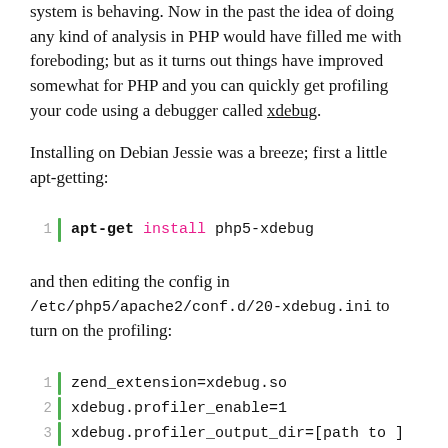system is behaving. Now in the past the idea of doing any kind of analysis in PHP would have filled me with foreboding; but as it turns out things have improved somewhat for PHP and you can quickly get profiling your code using a debugger called xdebug.
Installing on Debian Jessie was a breeze; first a little apt-getting:
1    apt-get install php5-xdebug
and then editing the config in /etc/php5/apache2/conf.d/20-xdebug.ini to turn on the profiling:
1    zend_extension=xdebug.so
2    xdebug.profiler_enable=1
3    xdebug.profiler_output_dir=[path to ]
Restart your web server and this will start churning